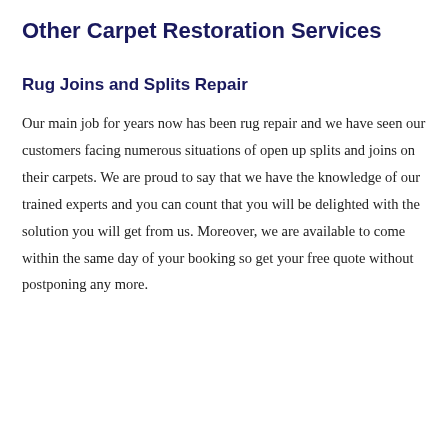Other Carpet Restoration Services
Rug Joins and Splits Repair
Our main job for years now has been rug repair and we have seen our customers facing numerous situations of open up splits and joins on their carpets. We are proud to say that we have the knowledge of our trained experts and you can count that you will be delighted with the solution you will get from us. Moreover, we are available to come within the same day of your booking so get your free quote without postponing any more.